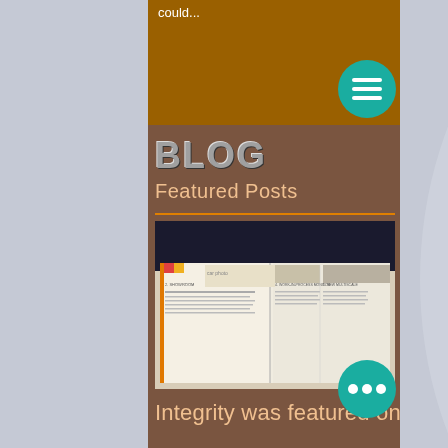could...
[Figure (screenshot): Teal circular menu button with three horizontal lines (hamburger icon)]
BLOG
Featured Posts
[Figure (photo): Open magazine/brochure spread showing automotive and lifestyle content with section headers including 'Showroom', 'Work-in-Progress Monitor', 'New Multiscale']
[Figure (other): Teal circular button with three dots (more options)]
Integrity was featured on